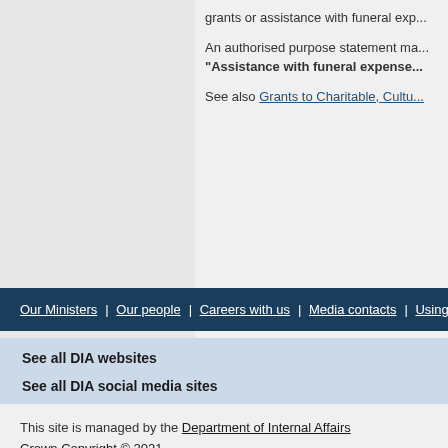grants or assistance with funeral exp...
An authorised purpose statement ma... "Assistance with funeral expense..."
See also Grants to Charitable, Cultu...
Our Ministers | Our people | Careers with us | Media contacts | Using our logo...
See all DIA websites
See all DIA social media sites
This site is managed by the Department of Internal Affairs Crown Copyright © 2021